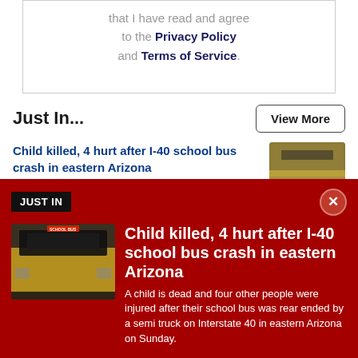that I have read and agree to the Privacy Policy and Terms of Service.
Just In...
View More
Child killed, 4 hurt after I-40 school bus crash in eastern Arizona
19 mins ago
[Figure (photo): Blurred thumbnail image of school bus crash scene]
Multiple suspects wanted for murder of
[Figure (photo): Blue thumbnail image]
JUST IN
[Figure (photo): School bus front view photo]
Child killed, 4 hurt after I-40 school bus crash in eastern Arizona
A child is dead and four other people were injured after their school bus was rear ended by a semi truck on Interstate 40 in eastern Arizona on Sunday.